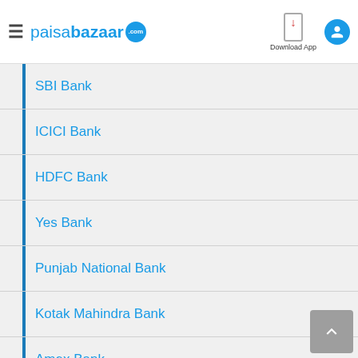paisabazaar.com — Download App
SBI Bank
ICICI Bank
HDFC Bank
Yes Bank
Punjab National Bank
Kotak Mahindra Bank
Amex Bank
Axis Bank